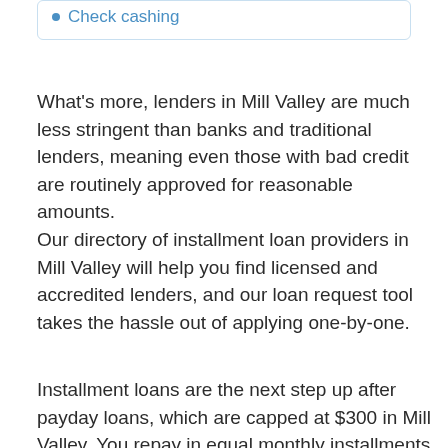Check cashing
What's more, lenders in Mill Valley are much less stringent than banks and traditional lenders, meaning even those with bad credit are routinely approved for reasonable amounts.
Our directory of installment loan providers in Mill Valley will help you find licensed and accredited lenders, and our loan request tool takes the hassle out of applying one-by-one.
Installment loans are the next step up after payday loans, which are capped at $300 in Mill Valley. You repay in equal monthly installments instead of one lump sum, and you can borrower up to $5,000 without collateral or a